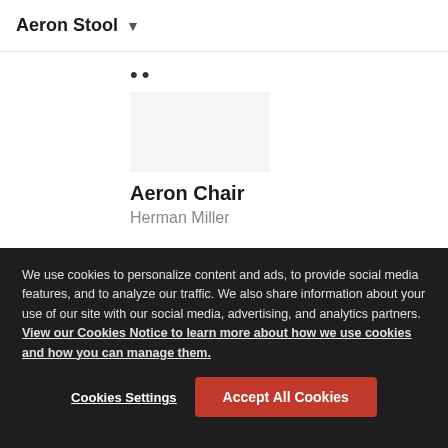Aeron Stool
Aeron Chair
Herman Miller
We use cookies to personalize content and ads, to provide social media features, and to analyze our traffic. We also share information about your use of our site with our social media, advertising, and analytics partners. View our Cookies Notice to learn more about how we use cookies and how you can manage them.
Cookies Settings
Accept All Cookies